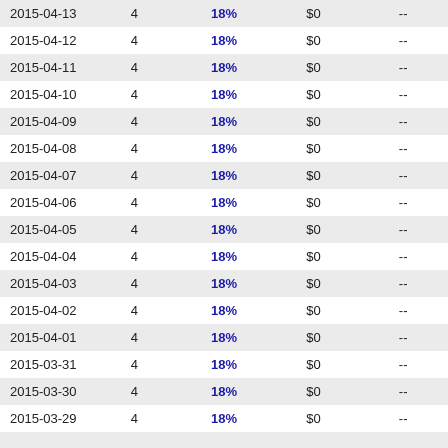| Date |  | Rate | Amount |  |
| --- | --- | --- | --- | --- |
| 2015-04-13 | 4 | 18% | $0 | -- |
| 2015-04-12 | 4 | 18% | $0 | -- |
| 2015-04-11 | 4 | 18% | $0 | -- |
| 2015-04-10 | 4 | 18% | $0 | -- |
| 2015-04-09 | 4 | 18% | $0 | -- |
| 2015-04-08 | 4 | 18% | $0 | -- |
| 2015-04-07 | 4 | 18% | $0 | -- |
| 2015-04-06 | 4 | 18% | $0 | -- |
| 2015-04-05 | 4 | 18% | $0 | -- |
| 2015-04-04 | 4 | 18% | $0 | -- |
| 2015-04-03 | 4 | 18% | $0 | -- |
| 2015-04-02 | 4 | 18% | $0 | -- |
| 2015-04-01 | 4 | 18% | $0 | -- |
| 2015-03-31 | 4 | 18% | $0 | -- |
| 2015-03-30 | 4 | 18% | $0 | -- |
| 2015-03-29 | 4 | 18% | $0 | -- |